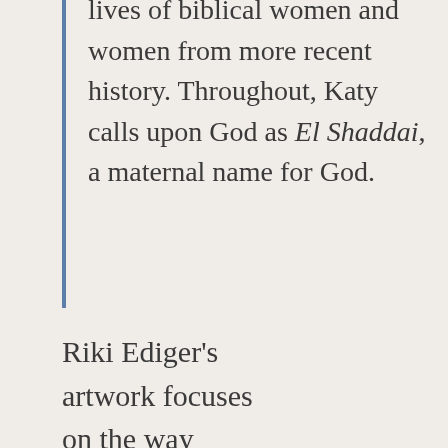lives of biblical women and women from more recent history. Throughout, Katy calls upon God as El Shaddai, a maternal name for God.
Riki Ediger's artwork focuses on the way